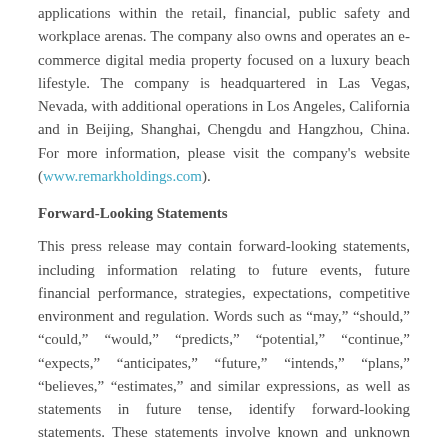applications within the retail, financial, public safety and workplace arenas. The company also owns and operates an e-commerce digital media property focused on a luxury beach lifestyle. The company is headquartered in Las Vegas, Nevada, with additional operations in Los Angeles, California and in Beijing, Shanghai, Chengdu and Hangzhou, China. For more information, please visit the company's website (www.remarkholdings.com).
Forward-Looking Statements
This press release may contain forward-looking statements, including information relating to future events, future financial performance, strategies, expectations, competitive environment and regulation. Words such as “may,” “should,” “could,” “would,” “predicts,” “potential,” “continue,” “expects,” “anticipates,” “future,” “intends,” “plans,” “believes,” “estimates,” and similar expressions, as well as statements in future tense, identify forward-looking statements. These statements involve known and unknown risks, uncertainties and other factors, including those discussed in Part I, Item 1A, Risk Factors in Remark